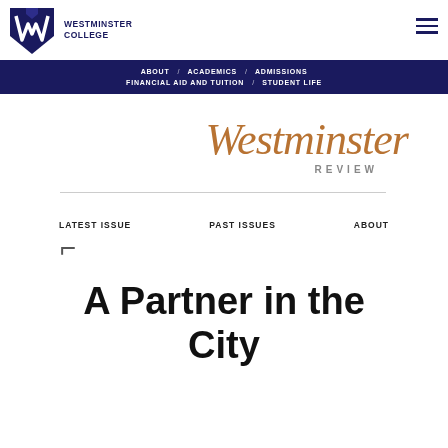[Figure (logo): Westminster College logo — stylized W in navy blue with shield, alongside college name text]
ABOUT / ACADEMICS / ADMISSIONS / FINANCIAL AID AND TUITION / STUDENT LIFE
[Figure (logo): Westminster Review masthead — italic cursive text 'Westminster' in copper/bronze color, with 'REVIEW' in grey capitals below]
LATEST ISSUE   PAST ISSUES   ABOUT
A Partner in the City